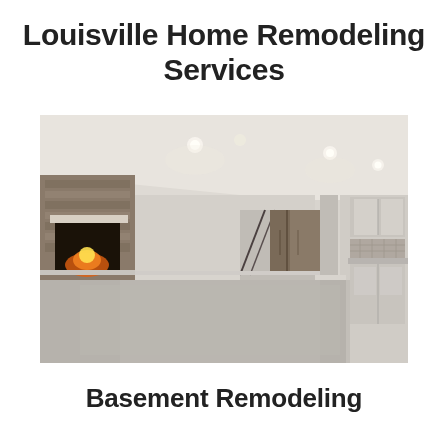Louisville Home Remodeling Services
[Figure (photo): Interior photo of a finished basement with grey carpet, recessed lighting, a stone fireplace on the left, barn-style doors in the center background, and a kitchenette area with white cabinets and tile backsplash on the right.]
Basement Remodeling